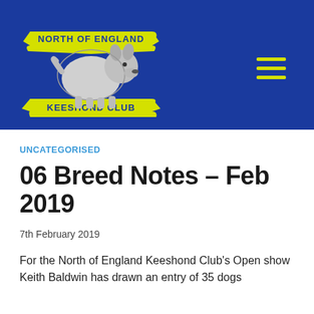[Figure (logo): North of England Keeshond Club logo: a Keeshond dog in the center surrounded by yellow banners reading 'NORTH OF ENGLAND' at the top and 'KEESHOND CLUB' at the bottom, on a blue background, with yellow lightning bolt decorative elements.]
UNCATEGORISED
06 Breed Notes – Feb 2019
7th February 2019
For the North of England Keeshond Club's Open show Keith Baldwin has drawn an entry of 35 dogs